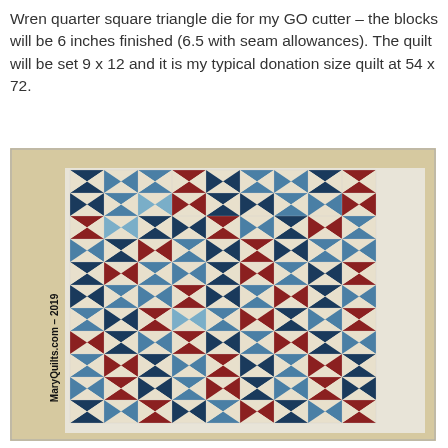Wren quarter square triangle die for my GO cutter – the blocks will be 6 inches finished (6.5 with seam allowances). The quilt will be set 9 x 12 and it is my typical donation size quilt at 54 x 72.
[Figure (photo): A quilt with quarter square triangle blocks in red, white, blue, and cream colors, hanging on a wall. The quilt has a pinwheel/hourglass pattern in navy, medium blue, red/burgundy, and cream/white fabrics. A watermark reads 'MaryQuilts.com – 2019' rotated vertically on the left side.]